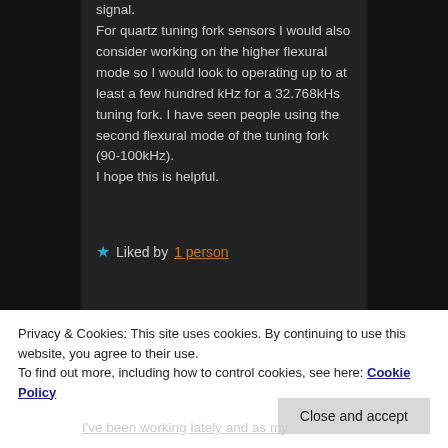signal. For quartz tuning fork sensors I would also consider working on the higher flexural mode so I would look to operating up to at least a few hundred kHz for a 32.768kHs tuning fork. I have seen people using the second flexural mode of the tuning fork (90-100kHz). I hope this is helpful.
★ Liked by 1 person
Privacy & Cookies: This site uses cookies. By continuing to use this website, you agree to their use. To find out more, including how to control cookies, see here: Cookie Policy
Close and accept
I've been working lately and as my